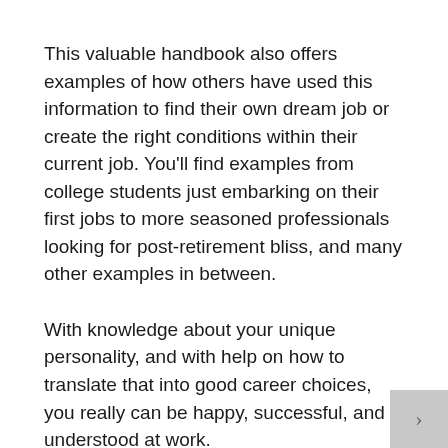This valuable handbook also offers examples of how others have used this information to find their own dream job or create the right conditions within their current job. You'll find examples from college students just embarking on their first jobs to more seasoned professionals looking for post-retirement bliss, and many other examples in between.
With knowledge about your unique personality, and with help on how to translate that into good career choices, you really can be happy, successful, and understood at work.
And if you want even more help, included is a coupon for a 50% discount